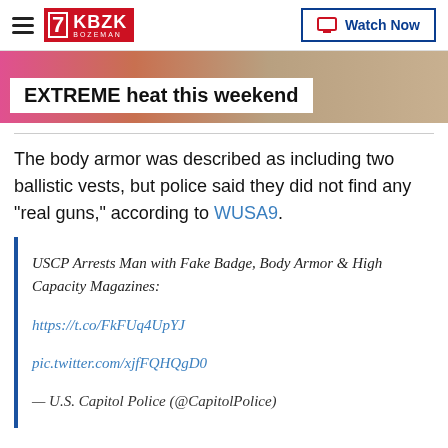KBZK Bozeman | Watch Now
[Figure (photo): Banner image with text 'EXTREME heat this weekend' over a background showing colorful outdoor scene]
The body armor was described as including two ballistic vests, but police said they did not find any "real guns," according to WUSA9.
USCP Arrests Man with Fake Badge, Body Armor & High Capacity Magazines: https://t.co/FkFUq4UpYJ pic.twitter.com/xjfFQHQgD0
— U.S. Capitol Police (@CapitolPolice)